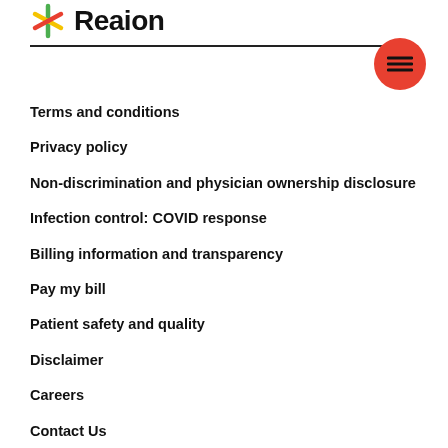Reaion
Terms and conditions
Privacy policy
Non-discrimination and physician ownership disclosure
Infection control: COVID response
Billing information and transparency
Pay my bill
Patient safety and quality
Disclaimer
Careers
Contact Us